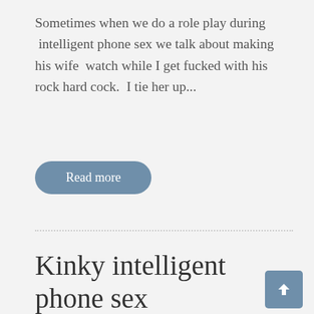Sometimes when we do a role play during  intelligent phone sex we talk about making his wife  watch while I get fucked with his rock hard cock.  I tie her up...
Read more
Kinky intelligent phone sex
By admin   September 22, 2020
dirty phone sex, erotic phone sex